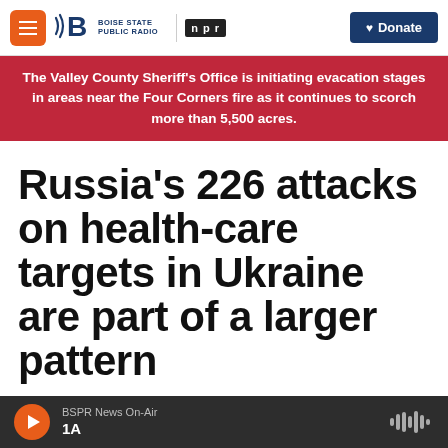Boise State Public Radio | NPR | Donate
The Valley County Sheriff's Office is initiating evacation stages in areas near the Four Corners fire as it continues to scorch more than 5,500 acres.
Russia's 226 attacks on health-care targets in Ukraine are part of a larger pattern
By Diane Cole
BSPR News On-Air | 1A